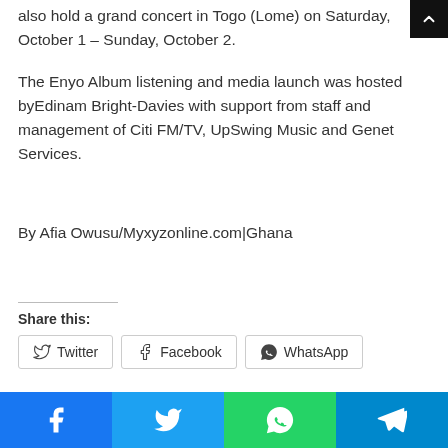also hold a grand concert in Togo (Lome) on Saturday, October 1 – Sunday, October 2.
The Enyo Album listening and media launch was hosted byEdinam Bright-Davies with support from staff and management of Citi FM/TV, UpSwing Music and Genet Services.
By Afia Owusu/Myxyzonline.com|Ghana
Share this:
Twitter  Facebook  WhatsApp